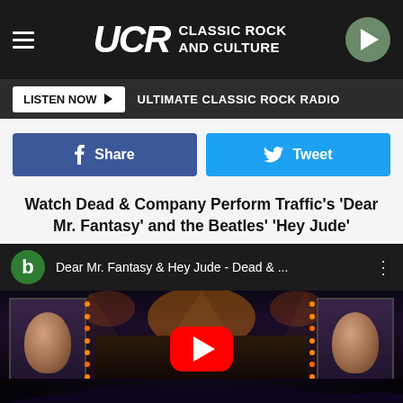UCR Classic Rock and Culture
LISTEN NOW ► ULTIMATE CLASSIC ROCK RADIO
[Figure (screenshot): Facebook Share button (blue) and Twitter Tweet button (light blue) side by side]
Watch Dead & Company Perform Traffic's 'Dear Mr. Fantasy' and the Beatles' 'Hey Jude'
[Figure (screenshot): YouTube video thumbnail showing Dead & Company concert — 'Dear Mr. Fantasy & Hey Jude - Dead & ...' with a red YouTube play button over a concert stage photo with crowd]